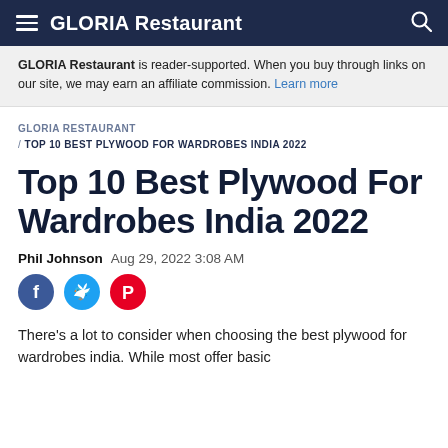GLORIA Restaurant
GLORIA Restaurant is reader-supported. When you buy through links on our site, we may earn an affiliate commission. Learn more
GLORIA RESTAURANT / TOP 10 BEST PLYWOOD FOR WARDROBES INDIA 2022
Top 10 Best Plywood For Wardrobes India 2022
Phil Johnson  Aug 29, 2022 3:08 AM
[Figure (other): Social share icons: Facebook, Twitter, Pinterest]
There's a lot to consider when choosing the best plywood for wardrobes india. While most offer basic